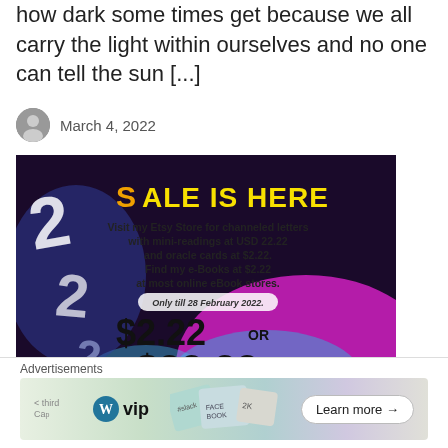how dark some times get because we all carry the light within ourselves and no one can tell the sun [...]
March 4, 2022
[Figure (infographic): Promotional advertisement image on dark background with rainbow swirl. Title reads 'Sale is Here' in orange and yellow lettering. Text: 'Visit my Etsy Store for channeled letters with mini-readings at USD 22.22 and oracle cards at $2.22. Find my e-Books at $2.22 at most online eBook stores. Only till 28 February 2022. $2.22 or $22.22 for selected eBooks'. Glowing '2' characters visible on left side.]
[Figure (infographic): Advertisements banner with WordPress VIP logo and stack of social media cards (Slack, Facebook, etc.). Learn more arrow button on right.]